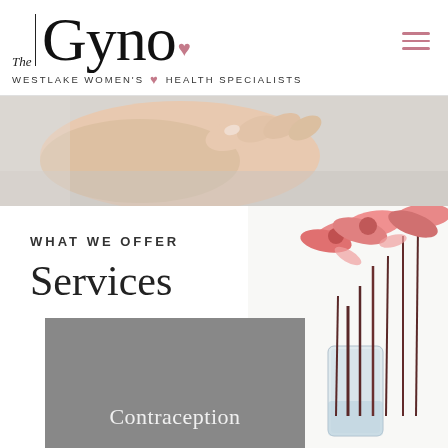[Figure (logo): The Gyno - Westlake Women's Health Specialists logo with heart symbol]
[Figure (photo): Close-up photo of a hand resting on a light grey fabric surface]
WHAT WE OFFER
Services
[Figure (photo): Pink flowers (gerbera daisies) in a glass vase with dark stems, on white background]
Contraception